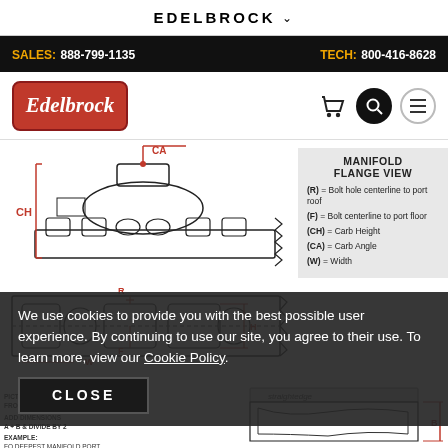EDELBROCK
SALES: 888-799-1135   TECH: 800-416-8628
[Figure (logo): Edelbrock logo — red rounded rectangle with white italic script text 'Edelbrock']
[Figure (engineering-diagram): Edelbrock manifold engineering diagram showing side view with CH (Carb Height) and CA (Carb Angle) dimension callouts in red, with detailed cross-section of intake manifold]
MANIFOLD FLANGE VIEW
(R) = Bolt hole centerline to port roof
(F) = Bolt centerline to port floor
(CH) = Carb Height
(CA) = Carb Angle
(W) = Width
[Figure (engineering-diagram): Manifold flange cross-section front/rear view with R, F, H, W dimension callouts; labeled 'PORT OPENING' and annotations for front and rear of manifold, straightedge reference, and dimension calculation instructions]
We use cookies to provide you with the best possible user experience. By continuing to use our site, you agree to their use. To learn more, view our Cookie Policy.
CLOSE
PICTURE OF MANIFOLD FROM FRONT & REAR OF THE MANIFOLD
ADD DIMENSIONS
A + B & DIVIDE BY 2
EXAMPLE:
FO DEEPEST MANIFOLD PORT
(A) 3.5" + (B) 4.6" ÷ 2 = 4.05"